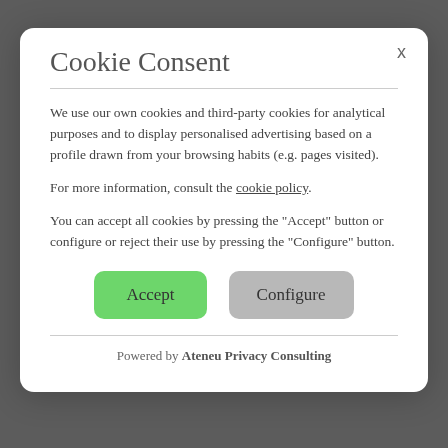Cookie Consent
We use our own cookies and third-party cookies for analytical purposes and to display personalised advertising based on a profile drawn from your browsing habits (e.g. pages visited).
For more information, consult the cookie policy.
You can accept all cookies by pressing the "Accept" button or configure or reject their use by pressing the "Configure" button.
Powered by Ateneu Privacy Consulting